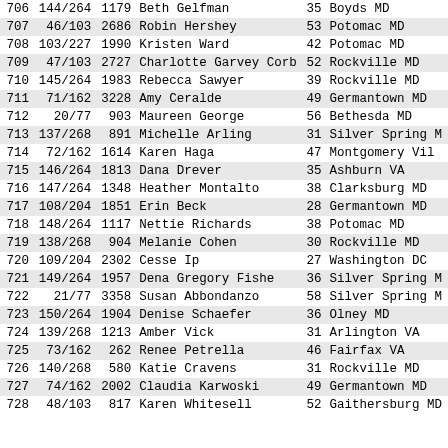| Rank | Div | Bib | Name | Age | Location |
| --- | --- | --- | --- | --- | --- |
| 706 | 144/264 | 1179 | Beth Gelfman | 35 | Boyds MD |
| 707 | 46/103 | 2686 | Robin Hershey | 53 | Potomac MD |
| 708 | 103/227 | 1990 | Kristen Ward | 42 | Potomac MD |
| 709 | 47/103 | 2727 | Charlotte Garvey Corb | 52 | Rockville MD |
| 710 | 145/264 | 1983 | Rebecca Sawyer | 39 | Rockville MD |
| 711 | 71/162 | 3228 | Amy Ceralde | 49 | Germantown MD |
| 712 | 20/77 | 903 | Maureen George | 56 | Bethesda MD |
| 713 | 137/268 | 891 | Michelle Arling | 31 | Silver Spring M |
| 714 | 72/162 | 1614 | Karen Haga | 47 | Montgomery Vil |
| 715 | 146/264 | 1813 | Dana Drever | 35 | Ashburn VA |
| 716 | 147/264 | 1348 | Heather Montalto | 38 | Clarksburg MD |
| 717 | 108/204 | 1851 | Erin Beck | 28 | Germantown MD |
| 718 | 148/264 | 1117 | Nettie Richards | 38 | Potomac MD |
| 719 | 138/268 | 904 | Melanie Cohen | 30 | Rockville MD |
| 720 | 109/204 | 2302 | Cesse Ip | 27 | Washington DC |
| 721 | 149/264 | 1957 | Dena Gregory Fishe | 36 | Silver Spring M |
| 722 | 21/77 | 3358 | Susan Abbondanzo | 58 | Silver Spring M |
| 723 | 150/264 | 1904 | Denise Schaefer | 36 | Olney MD |
| 724 | 139/268 | 1213 | Amber Vick | 31 | Arlington VA |
| 725 | 73/162 | 262 | Renee Petrella | 46 | Fairfax VA |
| 726 | 140/268 | 580 | Katie Cravens | 31 | Rockville MD |
| 727 | 74/162 | 2002 | Claudia Karwoski | 49 | Germantown MD |
| 728 | 48/103 | 817 | Karen Whitesell | 52 | Gaithersburg MD |